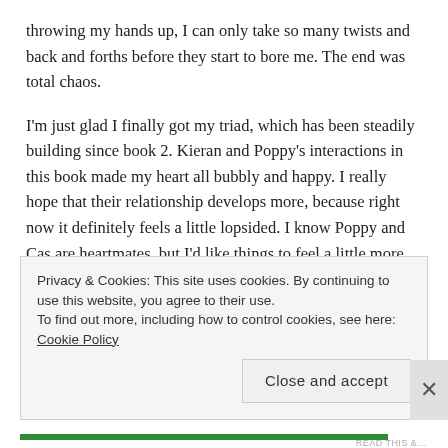throwing my hands up, I can only take so many twists and back and forths before they start to bore me. The end was total chaos.
I'm just glad I finally got my triad, which has been steadily building since book 2. Kieran and Poppy's interactions in this book made my heart all bubbly and happy. I really hope that their relationship develops more, because right now it definitely feels a little lopsided. I know Poppy and Cas are heartmates, but I'd like things to feel a little more equal. I am intrigued to see where things go, because JLA definitely left it a little vague. I really do hope book 5 is full of threesomes
Privacy & Cookies: This site uses cookies. By continuing to use this website, you agree to their use. To find out more, including how to control cookies, see here: Cookie Policy
Close and accept